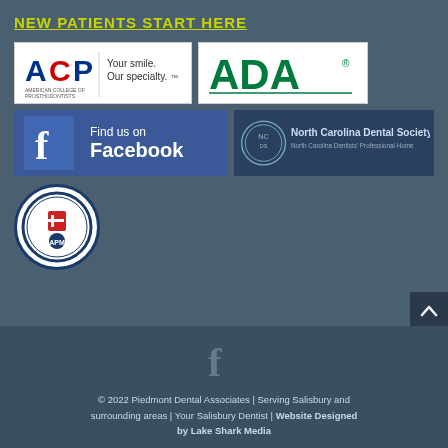NEW PATIENTS START HERE
[Figure (logo): ACP - American College of Prosthodontists logo: 'Your smile. Our specialty.']
[Figure (logo): ADA - American Dental Association logo]
[Figure (logo): Find us on Facebook logo badge]
[Figure (logo): North Carolina Dental Society logo]
[Figure (logo): APM circular badge logo]
[Figure (logo): Facebook icon in footer]
© 2022 Piedmont Dental Associates | Serving Salisbury and surrounding areas | Your Salisbury Dentist | Website Designed by Lake Shark Media